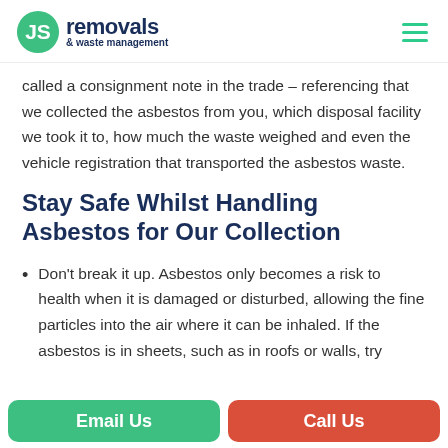[Figure (logo): JS Removals & Waste Management logo with green circular icon and dark navy text]
called a consignment note in the trade – referencing that we collected the asbestos from you, which disposal facility we took it to, how much the waste weighed and even the vehicle registration that transported the asbestos waste.
Stay Safe Whilst Handling Asbestos for Our Collection
Don't break it up. Asbestos only becomes a risk to health when it is damaged or disturbed, allowing the fine particles into the air where it can be inhaled. If the asbestos is in sheets, such as in roofs or walls, try